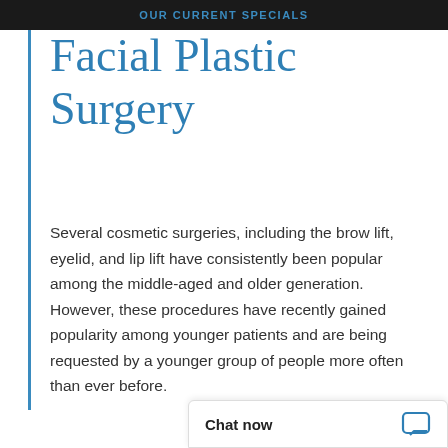OUR CURRENT SPECIALS
Facial Plastic Surgery
Several cosmetic surgeries, including the brow lift, eyelid, and lip lift have consistently been popular among the middle-aged and older generation. However, these procedures have recently gained popularity among younger patients and are being requested by a younger group of people more often than ever before.